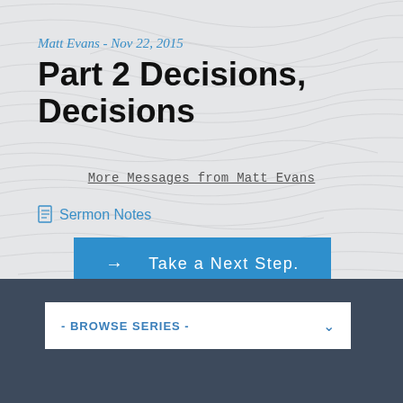Matt Evans - Nov 22, 2015
Part 2 Decisions, Decisions
More Messages from Matt Evans
Sermon Notes
→  Take a Next Step.
- BROWSE SERIES -